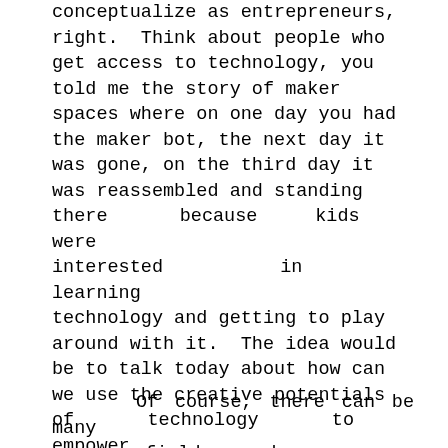conceptualize as entrepreneurs, right.  Think about people who get access to technology, you told me the story of maker spaces where on one day you had the maker bot, the next day it was gone, on the third day it was reassembled and standing there    because   kids    were interested      in      learning technology and getting to play around with it.  The idea would be to talk today about how can we use the creative potentials of    technology    to    empower people, to essentially improve maybe well-being, the agency of socially disadvantaged people.
Of course, there can be many many fields where we could potentially    think    about technology, helping challenges like starting from empowering